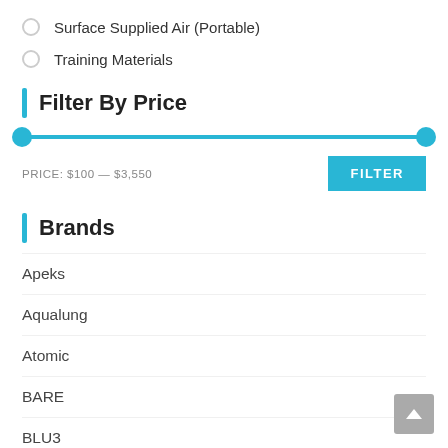Surface Supplied Air (Portable)
Training Materials
Filter By Price
PRICE: $100 — $3,550
Brands
Apeks
Aqualung
Atomic
BARE
BLU3